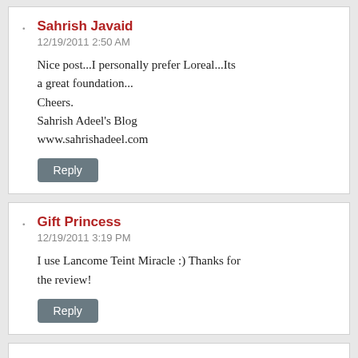Sahrish Javaid
12/19/2011 2:50 AM
Nice post...I personally prefer Loreal...Its a great foundation...
Cheers.
Sahrish Adeel's Blog
www.sahrishadeel.com
Reply
Gift Princess
12/19/2011 3:19 PM
I use Lancome Teint Miracle :) Thanks for the review!
Reply